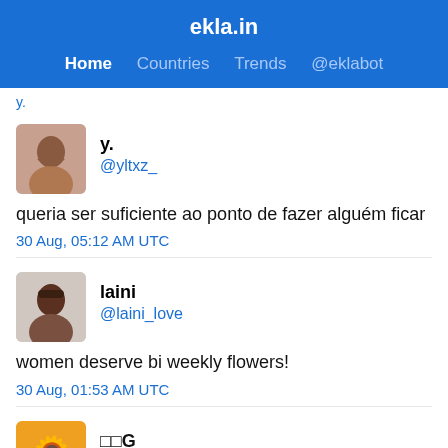ekla.in — Home Countries Trends @eklabot
y.
@yltxz_
queria ser suficiente ao ponto de fazer alguém ficar
30 Aug, 05:12 AM UTC
laini
@laini_love
women deserve bi weekly flowers!
30 Aug, 01:53 AM UTC